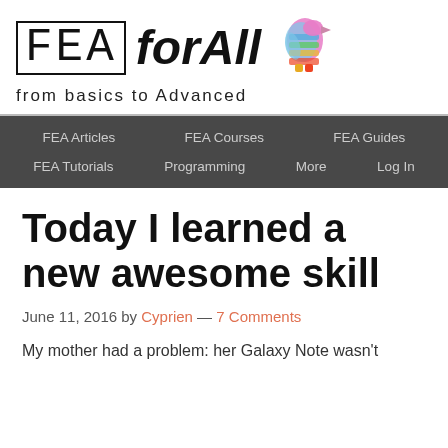[Figure (logo): FEA forAll logo with colorful FEA mesh figure and subtitle 'from basics to Advanced']
FEA Articles | FEA Courses | FEA Guides | FEA Tutorials | Programming | More | Log In
Today I learned a new awesome skill
June 11, 2016 by Cyprien — 7 Comments
My mother had a problem: her Galaxy Note wasn't